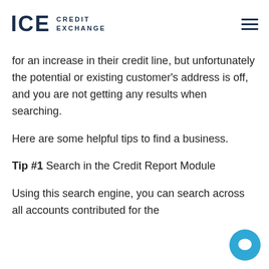ICE CREDIT EXCHANGE
for an increase in their credit line, but unfortunately the potential or existing customer's address is off, and you are not getting any results when searching.
Here are some helpful tips to find a business.
Tip #1 Search in the Credit Report Module
Using this search engine, you can search across all accounts contributed for the